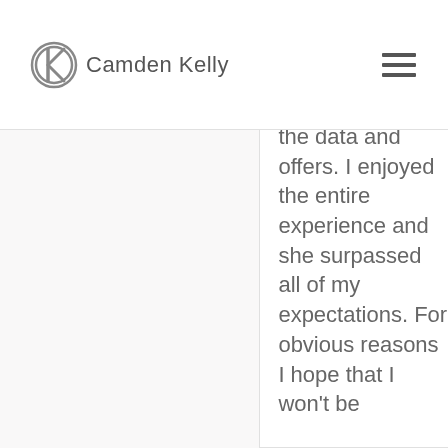Camden Kelly
the data and offers. I enjoyed the entire experience and she surpassed all of my expectations. For obvious reasons I hope that I won't be